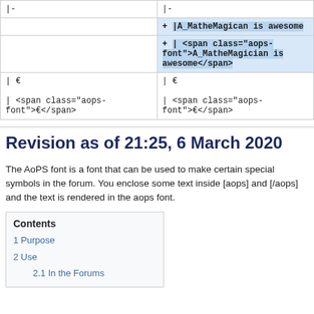| (left) | (right) |
| --- | --- |
| |- | |- |
|  | + |A_MatheMagican is awesome |
|  | + | <span class="aops-font">A_MatheMagician is awesome</span> |
| | €
| <span class="aops-font">€</span> | | €
| <span class="aops-font">€</span> |
Revision as of 21:25, 6 March 2020
The AoPS font is a font that can be used to make certain special symbols in the forum. You enclose some text inside [aops] and [/aops] and the text is rendered in the aops font.
Contents
1 Purpose
2 Use
2.1 In the Forums